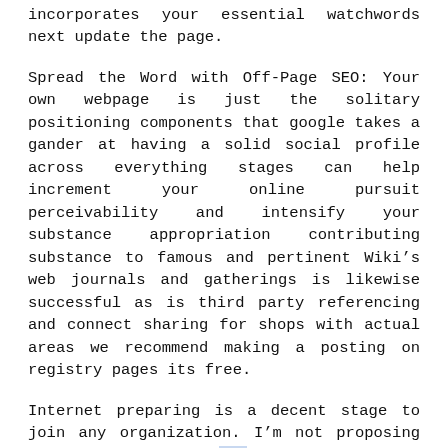incorporates your essential watchwords next update the page.
Spread the Word with Off-Page SEO: Your own webpage is just the solitary positioning components that google takes a gander at having a solid social profile across everything stages can help increment your online pursuit perceivability and intensify your substance appropriation contributing substance to famous and pertinent Wiki’s web journals and gatherings is likewise successful as is third party referencing and connect sharing for shops with actual areas we recommend making a posting on registry pages its free.
Internet preparing is a decent stage to join any organization. I’m not proposing that you can go to any establishment and get affirmation. Web based preparing